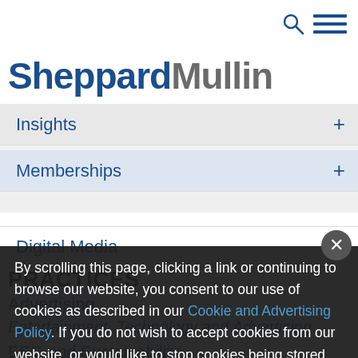[Figure (logo): SheppardMullin law firm logo with search and menu icons]
Insights +
Memberships +
Digital Media +
PRACTICES
Advertising
Entertainment, Technology and Advertising
ESG and Sustainability
By scrolling this page, clicking a link or continuing to browse our website, you consent to our use of cookies as described in our Cookie and Advertising Policy. If you do not wish to accept cookies from our website, or would like to stop cookies being stored on your device in the future, you can find out more and adjust your preferences here.